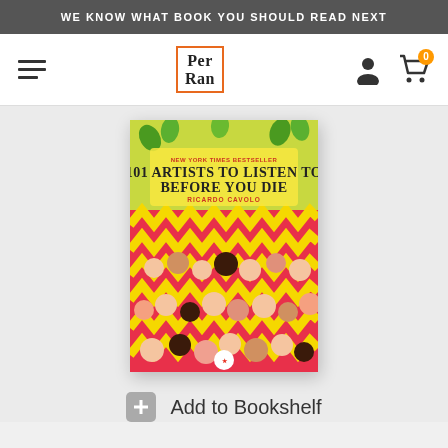WE KNOW WHAT BOOK YOU SHOULD READ NEXT
[Figure (screenshot): Website navigation bar with hamburger menu, Per Ran logo in orange border, user account icon, and shopping cart with 0 badge]
[Figure (photo): Book cover of '101 Artists to Listen to Before You Die' by Ricardo Cavolo, New York Times Bestseller, illustrated with colorful crowd of musicians in red, yellow and pink tones]
Add to Bookshelf